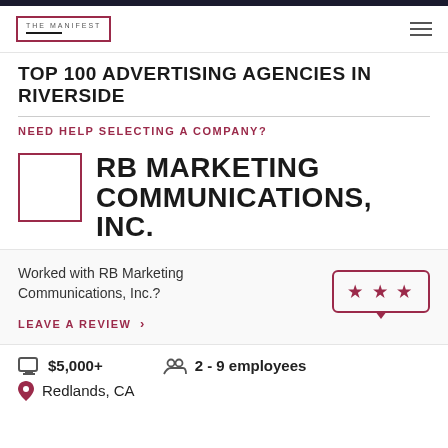The Manifest
TOP 100 ADVERTISING AGENCIES IN RIVERSIDE
NEED HELP SELECTING A COMPANY?
RB MARKETING COMMUNICATIONS, INC.
Worked with RB Marketing Communications, Inc.?
LEAVE A REVIEW >
$5,000+
2 - 9 employees
Redlands, CA